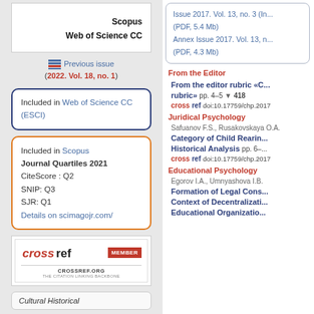[Figure (other): White box showing Scopus and Web of Science CC text]
Previous issue (2022. Vol. 18, no. 1)
Included in Web of Science CC (ESCI)
Included in Scopus
Journal Quartiles 2021
CiteScore : Q2
SNIP: Q3
SJR: Q1
Details on scimagojr.com/
[Figure (logo): CrossRef Member badge logo with crossref.org text]
Cultural Historical (partial)
Issue 2017. Vol. 13, no. 3 (In... (PDF, 5.4 Mb)
Annex Issue 2017. Vol. 13, n... (PDF, 4.3 Mb)
From the Editor
From the editor rubric «C... rubric»  pp. 4–5  418
doi:10.17759/chp.2017
Juridical Psychology
Safuanov F.S., Rusakovskaya O.A.
Category of Child Rearing... Historical Analysis  pp. 6–...
doi:10.17759/chp.2017
Educational Psychology
Egorov I.A., Umnyashova I.B.
Formation of Legal Cons... Context of Decentralizati... Educational Organizatio...